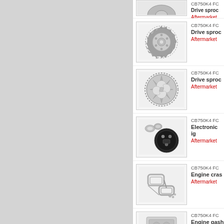[Figure (photo): Partial view of a motorcycle part at the top (cropped)]
CB750K4 FC
Drive sproc
Aftermarket
[Figure (photo): Drive sprocket (small front sprocket) for CB750K4 FC]
CB750K4 FC
Drive sproc
Aftermarket
[Figure (photo): Large rear drive sprocket for CB750K4 FC]
CB750K4 FC
Electronic ig
Aftermarket
[Figure (photo): Electronic ignition components for CB750K4 FC]
CB750K4 FC
Engine cras
Aftermarket
[Figure (photo): Engine crash bars/guards for CB750K4 FC]
CB750K4 FC
Engine gash
Genuine Pa